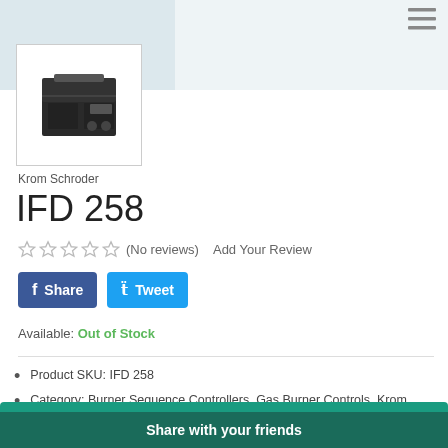[Figure (photo): Product image of Krom Schroder IFD 258 burner sequence controller - a dark grey/black electronic control unit device]
Krom Schroder
IFD 258
(No reviews)  Add Your Review
Share  Tweet
Available: Out of Stock
Product SKU:   IFD 258
Category:   Burner Sequence Controllers, Gas Burner Controls, Krom Schroder
Share with your friends